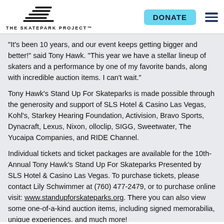THE SKATEPARK PROJECT™  DONATE
“It’s been 10 years, and our event keeps getting bigger and better!” said Tony Hawk. “This year we have a stellar lineup of skaters and a performance by one of my favorite bands, along with incredible auction items. I can’t wait.”
Tony Hawk’s Stand Up For Skateparks is made possible through the generosity and support of SLS Hotel & Casino Las Vegas, Kohl’s, Starkey Hearing Foundation, Activision, Bravo Sports, Dynacraft, Lexus, Nixon, olloclip, SIGG, Sweetwater, The Yucaipa Companies, and RIDE Channel.
Individual tickets and ticket packages are available for the 10th-Annual Tony Hawk’s Stand Up For Skateparks Presented by SLS Hotel & Casino Las Vegas. To purchase tickets, please contact Lily Schwimmer at (760) 477-2479, or to purchase online visit: www.standupforskateparks.org. There you can also view some one-of-a-kind auction items, including signed memorabilia, unique experiences, and much more!